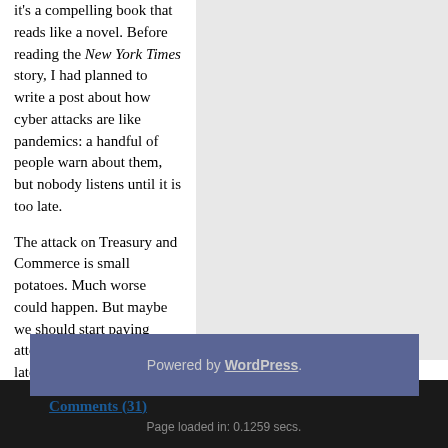it's a compelling book that reads like a novel. Before reading the New York Times story, I had planned to write a post about how cyber attacks are like pandemics: a handful of people warn about them, but nobody listens until it is too late.
The attack on Treasury and Commerce is small potatoes. Much worse could happen. But maybe we should start paying attention now, rather than later.
Comments (31)
Powered by WordPress.
Page loaded in: 0.1259 secs.